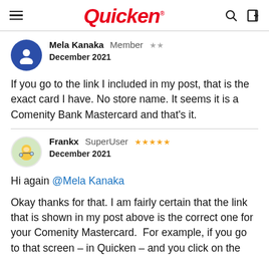Quicken
Mela Kanaka  Member  ★★
December 2021
If you go to the link I included in my post, that is the exact card I have. No store name. It seems it is a Comenity Bank Mastercard and that's it.
Frankx  SuperUser  ★★★★★
December 2021
Hi again @Mela Kanaka
Okay thanks for that. I am fairly certain that the link that is shown in my post above is the correct one for your Comenity Mastercard.  For example, if you go to that screen – in Quicken – and you click on the